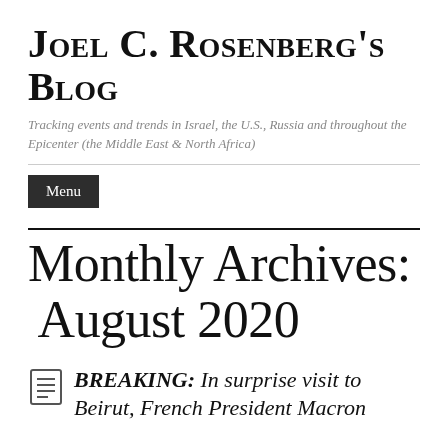Joel C. Rosenberg's Blog
Tracking events and trends in Israel, the U.S., Russia and throughout the Epicenter (the Middle East & North Africa)
Menu
Monthly Archives: August 2020
BREAKING: In surprise visit to Beirut, French President Macron